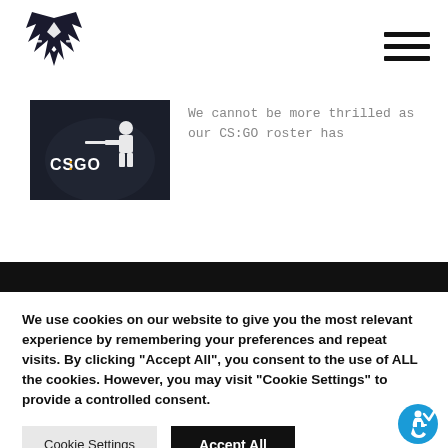[Figure (logo): Stylized phoenix/wing logo in dark blue/black, esports organization logo]
[Figure (other): Hamburger menu icon with three horizontal black lines]
[Figure (screenshot): CS:GO logo image with player silhouette on dark background]
We cannot be more thrilled as our CS:GO roster has
We use cookies on our website to give you the most relevant experience by remembering your preferences and repeat visits. By clicking "Accept All", you consent to the use of ALL the cookies. However, you may visit "Cookie Settings" to provide a controlled consent.
Cookie Settings
Accept All